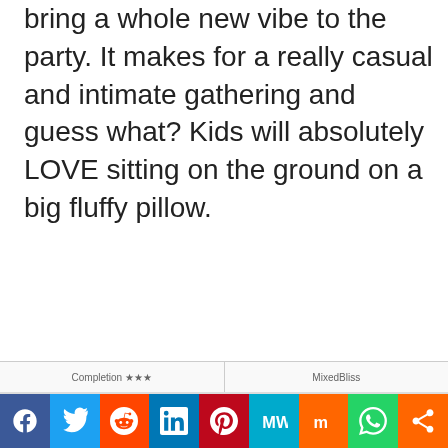bring a whole new vibe to the party. It makes for a really casual and intimate gathering and guess what? Kids will absolutely LOVE sitting on the ground on a big fluffy pillow.
[Figure (other): Social media sharing bar with icons for Facebook, Twitter, Reddit, LinkedIn, Pinterest, MeWe, Mix, WhatsApp, and a share button]